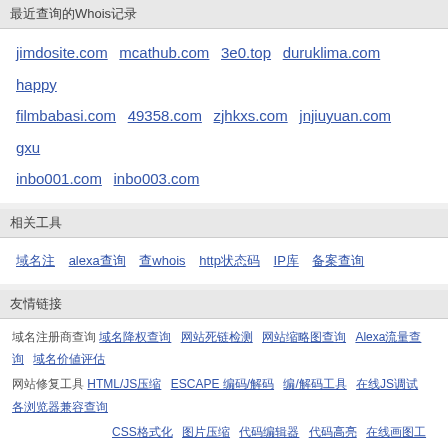最近查询的Whois记录
jimdosite.com  mcathub.com  3e0.top  duruklima.com  happy...  filmbabasi.com  49358.com  zjhkxs.com  jnjiuyuan.com  gxu...  inbo001.com  inbo003.com
相关工具
域名注册  alexa查询  查whois  http状态码  IP库  备案查询
友情链接
域名注册商查询  域名降权查询  网站死链检测  网站缩略图查询  Alexa流量查询  域名价值评估  网站修复工具  HTML/JS压缩  ESCAPE 编码/解码  编码/解码工具  在线JS调试  各浏览器兼容查询  CSS格式化  图片压缩  代码编辑器  代码高亮  在线画图工具  网站分析工具  站长  备案查询  SEO综合查询  网站教程  HTML教程  CSS教程  jQuery 教程  AJAX 教程  JScript教程  PHP教程  MYS...